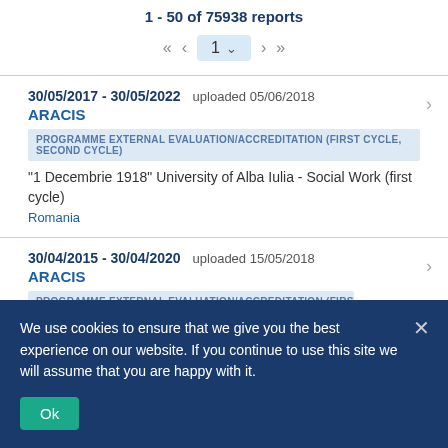1 - 50 of 75938 reports
« ‹ 1 › »
30/05/2017 - 30/05/2022  uploaded 05/06/2018
ARACIS
PROGRAMME EXTERNAL EVALUATION/ACCREDITATION (FIRST CYCLE, SECOND CYCLE)
"1 Decembrie 1918" University of Alba Iulia - Social Work (first cycle)
Romania
30/04/2015 - 30/04/2020  uploaded 15/05/2018
ARACIS
PROGRAMME EXTERNAL EVALUATION/ACCREDITATION (FIRST CYCLE...
We use cookies to ensure that we give you the best experience on our website. If you continue to use this site we will assume that you are happy with it.